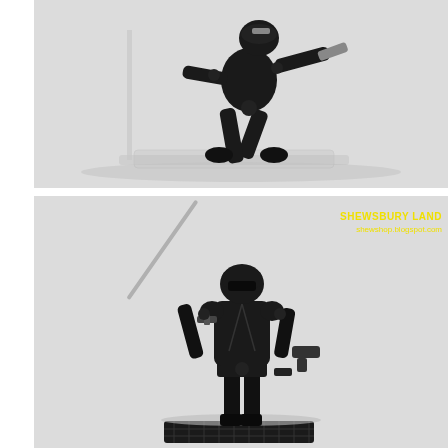[Figure (photo): Action figure of a black-clad soldier/ninja toy in a dynamic crouching pose, holding weapons, mounted on a clear action figure stand. White background.]
[Figure (photo): Action figure of a black-clad soldier/ninja toy standing upright, holding a sword in one hand and a gun in the other hand, mounted on a black display base. White background. Yellow watermark text 'SHEWSBURY LAND / shewshop.blogspot.com' in upper right area.]